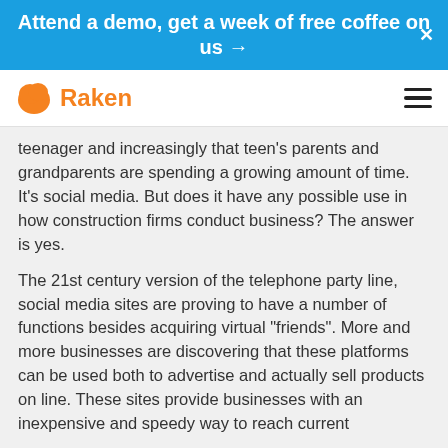Attend a demo, get a week of free coffee on us →
[Figure (logo): Raken logo with orange blob icon and orange Raken text, hamburger menu icon on the right]
teenager and increasingly that teen's parents and grandparents are spending a growing amount of time. It's social media. But does it have any possible use in how construction firms conduct business? The answer is yes.
The 21st century version of the telephone party line, social media sites are proving to have a number of functions besides acquiring virtual "friends". More and more businesses are discovering that these platforms can be used both to advertise and actually sell products on line. These sites provide businesses with an inexpensive and speedy way to reach current